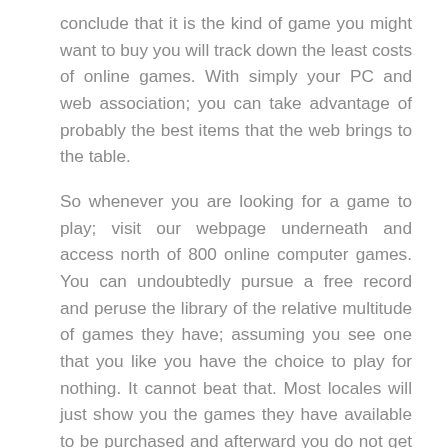conclude that it is the kind of game you might want to buy you will track down the least costs of online games. With simply your PC and web association; you can take advantage of probably the best items that the web brings to the table.
So whenever you are looking for a game to play; visit our webpage underneath and access north of 800 online computer games. You can undoubtedly pursue a free record and peruse the library of the relative multitude of games they have; assuming you see one that you like you have the choice to play for nothing. It cannot beat that. Most locales will just show you the games they have available to be purchased and afterward you do not get the amazing chance to test drive them; to check whether it is the sort of game that you will like. Assuming that you tracked down this article on free online card games accommodating; visit our webpage beneath. Peruse the tremendous online game library